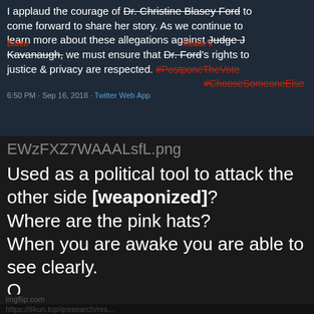[Figure (screenshot): Screenshot of a tweet with text about Dr. Christine Blasey Ford and Judge Kavanaugh, with words crossed out and replaced with 'Biden' and 'Reade's', dated 6:50 PM Sep 16, 2018 from Twitter Web App]
EWzFXZ7WAAALsfL.png
Used as a political tool to attack the other side [weaponized]? Where are the pink hats? When you are awake you are able to see clearly. Q
imgflip.com https://8kun.top/qresearch/res...